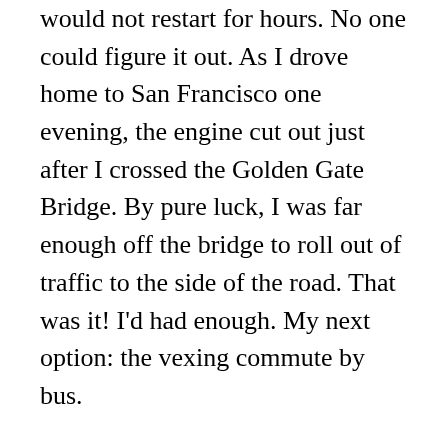would not restart for hours. No one could figure it out. As I drove home to San Francisco one evening, the engine cut out just after I crossed the Golden Gate Bridge. By pure luck, I was far enough off the bridge to roll out of traffic to the side of the road. That was it! I'd had enough. My next option: the vexing commute by bus.
Not long after, I was in my local bike store to buy a bike. A friend of the clerk burst through the door. He was so elated after taking the ferry to Marin County and riding his bike around the trails, he had to tell someone.
Ferry? Marin County? I promptly looked into it. A week later, commuting to work by ferry